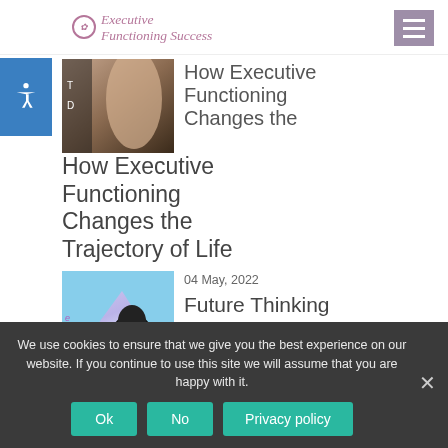Executive Functioning Success
[Figure (photo): Photo of two women, partially visible, article thumbnail]
How Executive Functioning Changes the Trajectory of Life
04 May, 2022
[Figure (photo): Photo showing a penguin and purple/blue gradient background with text elements]
Future Thinking for a Major Life Transition
We use cookies to ensure that we give you the best experience on our website. If you continue to use this site we will assume that you are happy with it.